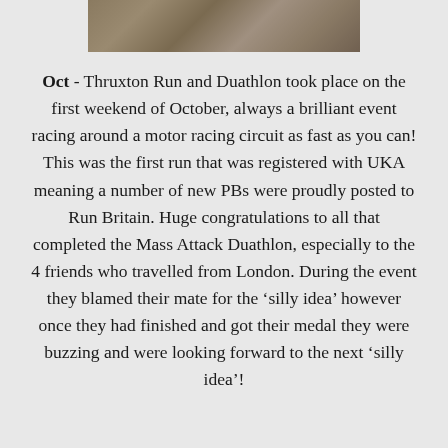[Figure (photo): A partial photo strip at the top of the page showing a textured surface, likely a racing circuit or road surface, in muted brown/grey tones.]
Oct - Thruxton Run and Duathlon took place on the first weekend of October, always a brilliant event racing around a motor racing circuit as fast as you can! This was the first run that was registered with UKA meaning a number of new PBs were proudly posted to Run Britain. Huge congratulations to all that completed the Mass Attack Duathlon, especially to the 4 friends who travelled from London. During the event they blamed their mate for the ‘silly idea’ however once they had finished and got their medal they were buzzing and were looking forward to the next ‘silly idea’!